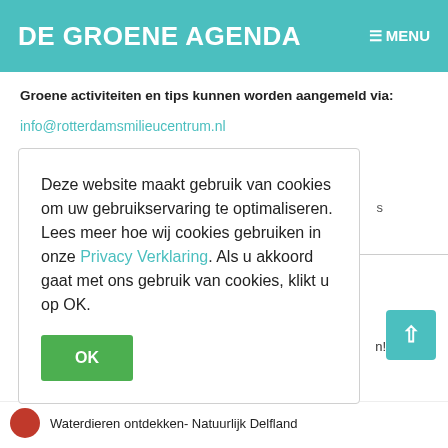DE GROENE AGENDA | MENU
Groene activiteiten en tips kunnen worden aangemeld via:
info@rotterdamsmilieucentrum.nl
Deze website maakt gebruik van cookies om uw gebruikservaring te optimaliseren. Lees meer hoe wij cookies gebruiken in onze Privacy Verklaring. Als u akkoord gaat met ons gebruik van cookies, klikt u op OK.
OK
Waterdieren ontdekken- Natuurlijk Delfland